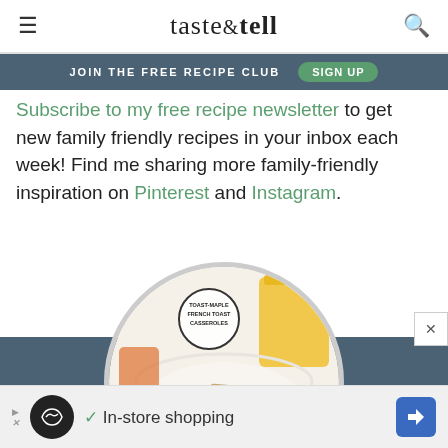≡  taste&tell  🔍
JOIN THE FREE RECIPE CLUB  SIGN UP
Subscribe to my free recipe newsletter to get new family friendly recipes in your inbox each week! Find me sharing more family-friendly inspiration on Pinterest and Instagram.
[Figure (photo): Circular thumbnail image of a French toast casserole dish in a white bowl with powdered sugar, with a glass of orange juice visible. A stamp badge reads 'TOAST-MAPLE FRENCH TOAST CASSEROLES' overlaid on the image. The image is displayed over a dark blue-gray background band.]
✓ In-store shopping